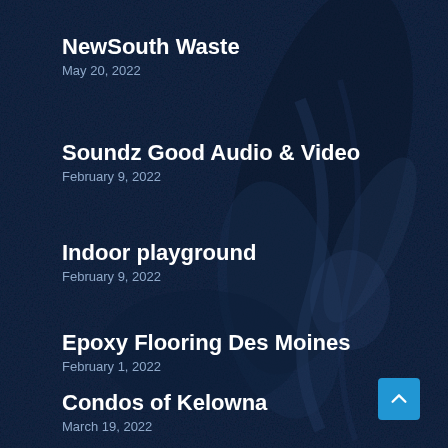NewSouth Waste
May 20, 2022
Soundz Good Audio & Video
February 9, 2022
Indoor playground
February 9, 2022
Epoxy Flooring Des Moines
February 1, 2022
Condos of Kelowna
March 19, 2022